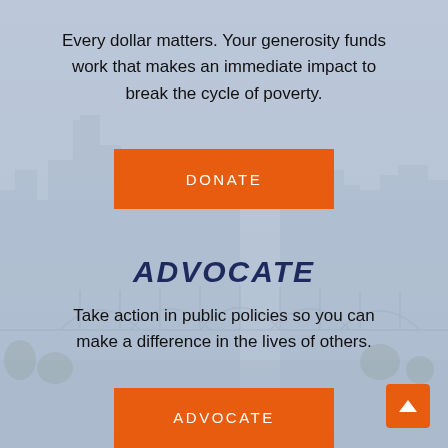Every dollar matters. Your generosity funds work that makes an immediate impact to break the cycle of poverty.
[Figure (illustration): Orange DONATE button on city skyline background]
ADVOCATE
Take action in public policies so you can make a difference in the lives of others.
[Figure (illustration): Orange ADVOCATE button]